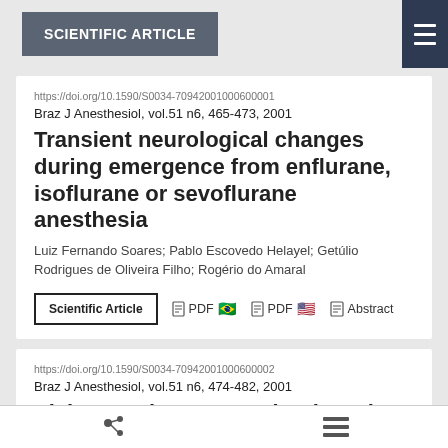SCIENTIFIC ARTICLE
https://doi.org/10.1590/S0034-70942001000600001
Braz J Anesthesiol, vol.51 n6, 465-473, 2001
Transient neurological changes during emergence from enflurane, isoflurane or sevoflurane anesthesia
Luiz Fernando Soares; Pablo Escovedo Helayel; Getúlio Rodrigues de Oliveira Filho; Rogério do Amaral
https://doi.org/10.1590/S0034-70942001000600002
Braz J Anesthesiol, vol.51 n6, 474-482, 2001
Plain 0.5% levogyrous bupivacaine versus 0.5% bupivacaine enantiomeric mixture